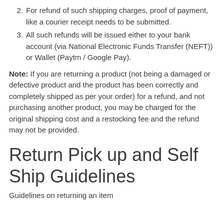2. For refund of such shipping charges, proof of payment, like a courier receipt needs to be submitted.
3. All such refunds will be issued either to your bank account (via National Electronic Funds Transfer (NEFT)) or Wallet (Paytm / Google Pay).
Note: If you are returning a product (not being a damaged or defective product and the product has been correctly and completely shipped as per your order) for a refund, and not purchasing another product, you may be charged for the original shipping cost and a restocking fee and the refund may not be provided.
Return Pick up and Self Ship Guidelines
Guidelines on returning an item